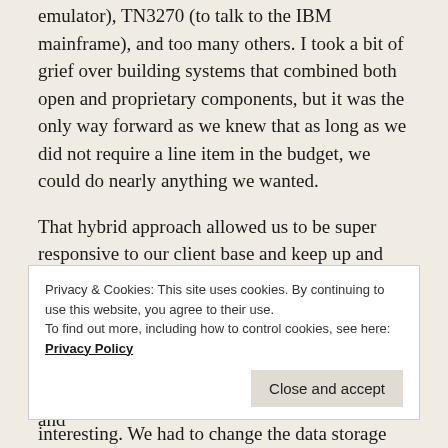emulator), TN3270 (to talk to the IBM mainframe), and too many others. I took a bit of grief over building systems that combined both open and proprietary components, but it was the only way forward as we knew that as long as we did not require a line item in the budget, we could do nearly anything we wanted.
That hybrid approach allowed us to be super responsive to our client base and keep up and leverage the changing technology and internal (county-government-wide) standards. We were able to build custom GIS apps for Planning, the Tax Assessor, the Tax Commissioner, 911 and EMA, the Police and Sheriff, Voter Registation, and more. Using a hybrid approach, the only way we not
Privacy & Cookies: This site uses cookies. By continuing to use this website, you agree to their use.
To find out more, including how to control cookies, see here: Privacy Policy
Close and accept
interesting. We had to change the data storage system